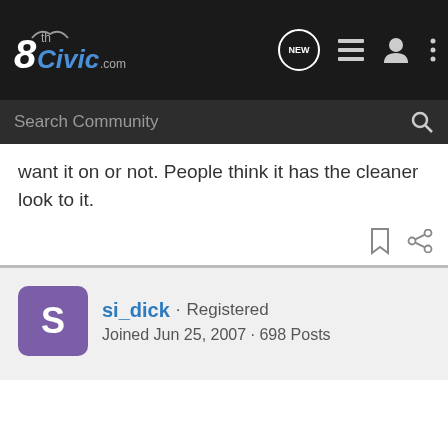8thCivic.com navigation bar with logo, NEW bubble, list icon, user icon, more icon
Search Community
want it on or not. People think it has the cleaner look to it.
si_dick · Registered
Joined Jun 25, 2007 · 698 Posts